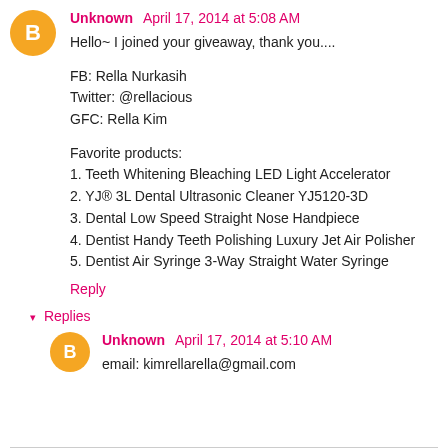Unknown  April 17, 2014 at 5:08 AM
Hello~ I joined your giveaway, thank you....
FB: Rella Nurkasih
Twitter: @rellacious
GFC: Rella Kim
Favorite products:
1. Teeth Whitening Bleaching LED Light Accelerator
2. YJ® 3L Dental Ultrasonic Cleaner YJ5120-3D
3. Dental Low Speed Straight Nose Handpiece
4. Dentist Handy Teeth Polishing Luxury Jet Air Polisher
5. Dentist Air Syringe 3-Way Straight Water Syringe
Reply
▾ Replies
Unknown  April 17, 2014 at 5:10 AM
email: kimrellarella@gmail.com